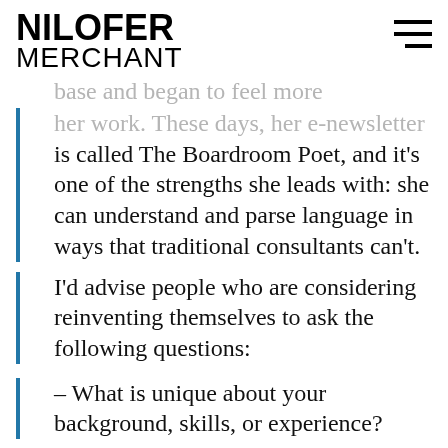NILOFER MERCHANT
base and began to feel more
her work. These days, her e-newsletter is called The Boardroom Poet, and it's one of the strengths she leads with: she can understand and parse language in ways that traditional consultants can't.
I'd advise people who are considering reinventing themselves to ask the following questions:
– What is unique about your background, skills, or experience?